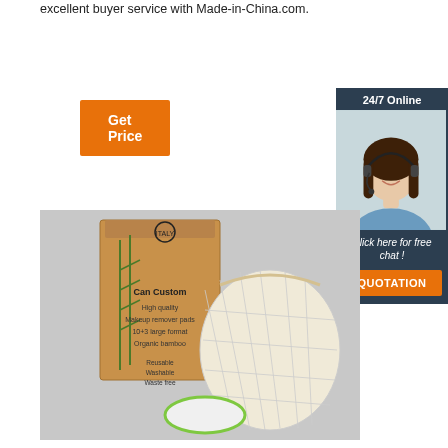excellent buyer service with Made-in-China.com.
[Figure (other): Orange 'Get Price' button]
[Figure (other): 24/7 Online chat widget with customer service representative photo, 'Click here for free chat!' text, and orange QUOTATION button]
[Figure (photo): Product photo showing a kraft paper box labeled 'Can Custom' with bamboo design and text 'High quality Makeup remover pads 10+3 large format Organic bamboo Reusable Washable Waste free', alongside a mesh/net drawstring bag containing round makeup remover pads with a green trim.]